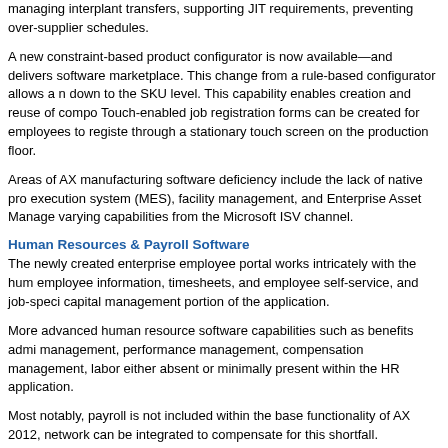managing interplant transfers, supporting JIT requirements, preventing over-supplier schedules.
A new constraint-based product configurator is now available—and delivers software marketplace. This change from a rule-based configurator allows a n down to the SKU level. This capability enables creation and reuse of compo Touch-enabled job registration forms can be created for employees to registe through a stationary touch screen on the production floor.
Areas of AX manufacturing software deficiency include the lack of native pro execution system (MES), facility management, and Enterprise Asset Manage varying capabilities from the Microsoft ISV channel.
Human Resources & Payroll Software
The newly created enterprise employee portal works intricately with the hum employee information, timesheets, and employee self-service, and job-speci capital management portion of the application.
More advanced human resource software capabilities such as benefits admi management, performance management, compensation management, labor either absent or minimally present within the HR application.
Most notably, payroll is not included within the base functionality of AX 2012, network can be integrated to compensate for this shortfall.
Customer Relationship Management & Sales Force Automation
Dynamics CRM is MS Dynamics AX's customer relationship management so CRM suite, including marketing, sales force automation and customer servic CRM is the strongest, marketing is the weakest and customer service has st SFA software is easy to use while providing advanced functionality such as i Miller Hieman, Spin Selling, and Target Accounting Selling (TAS).